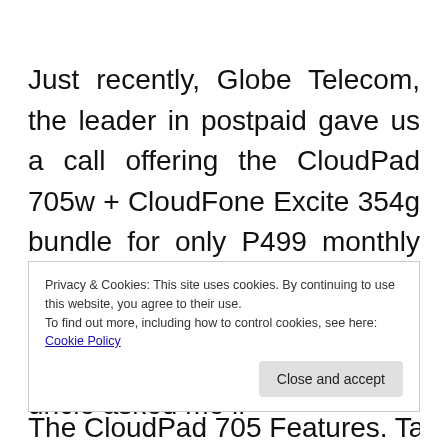Just recently, Globe Telecom, the leader in postpaid gave us a call offering the CloudPad 705w + CloudFone Excite 354g bundle for only P499 monthly complete with monthly consumable calls and texts as well as mobile surfing. My uncle asked me if
Privacy & Cookies: This site uses cookies. By continuing to use this website, you agree to their use.
To find out more, including how to control cookies, see here: Cookie Policy
Close and accept
The CloudPad 705 Features. Take home and it...